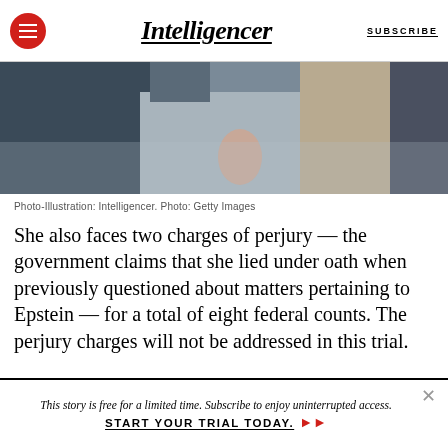Intelligencer | SUBSCRIBE
[Figure (photo): Cropped photo showing two people standing close together, one in a dark jacket and one in a light/beige outfit, from the torso down. Photo-Illustration by Intelligencer using Getty Images.]
Photo-Illustration: Intelligencer. Photo: Getty Images
She also faces two charges of perjury — the government claims that she lied under oath when previously questioned about matters pertaining to Epstein — for a total of eight federal counts. The perjury charges will not be addressed in this trial.
This story is free for a limited time. Subscribe to enjoy uninterrupted access. START YOUR TRIAL TODAY.